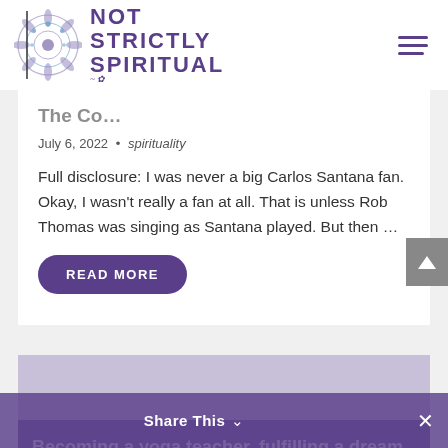NOT STRICTLY SPIRITUAL
July 6, 2022 • spirituality
Full disclosure: I was never a big Carlos Santana fan. Okay, I wasn't really a fan at all. That is unless Rob Thomas was singing as Santana played. But then …
READ MORE
Becoming a yoga teacher, fulfilling a dream
Share This